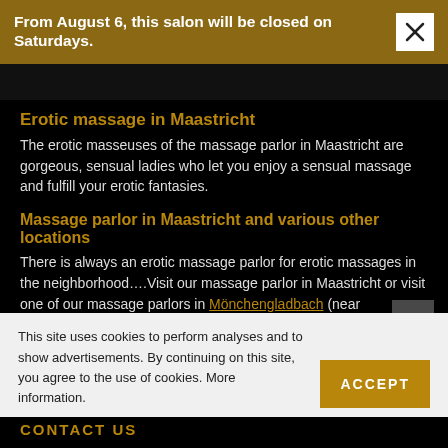From August 6, this salon will be closed on Saturdays.
Erotic massage in Maastricht
The erotic masseuses of the massage parlor in Maastricht are gorgeous, sensual ladies who let you enjoy a sensual massage and fulfill your erotic fantasies.
Massage parlor in Maastricht and various other locations
There is always an erotic massage parlor for erotic massages in the neighborhood….Visit our massage parlor in Maastricht or visit one of our massage parlors in Mönchengladbach (near Roermond), Antwerp, Ween, Heerlen, Eindhoven, Nijmegen or Soest (near Utrecht).
This site uses cookies to perform analyses and to show advertisements. By continuing on this site, you agree to the use of cookies. More information.
CONTACT US